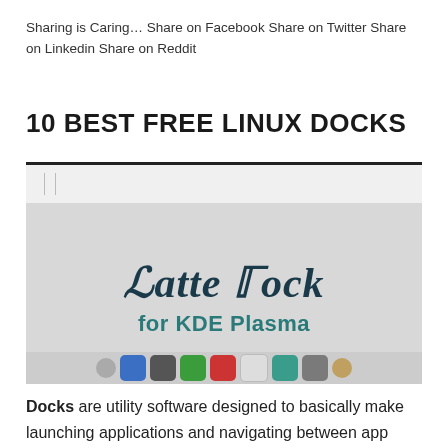Sharing is Caring… Share on Facebook Share on Twitter Share on Linkedin Share on Reddit
10 BEST FREE LINUX DOCKS
[Figure (screenshot): Latte Dock for KDE Plasma logo/banner image showing stylized text 'Latte Dock' in dark teal italic serif font and 'for KDE Plasma' in teal bold sans-serif, with a dock of app icons along the bottom on a light gray background.]
Docks are utility software designed to basically make launching applications and navigating between app windows as easy as possible alongside beautifying the